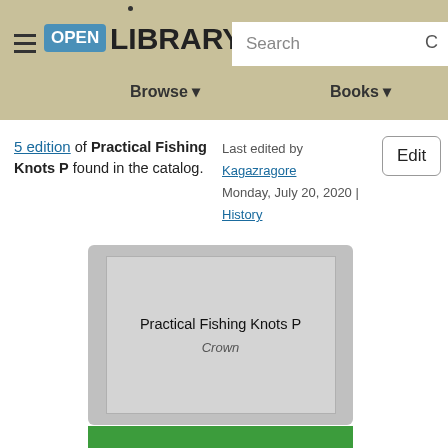Open Library — Browse | Books | Search
5 edition of Practical Fishing Knots P found in the catalog.
Last edited by Kagazragore
Monday, July 20, 2020 | History
[Figure (illustration): Book cover placeholder showing 'Practical Fishing Knots P' and publisher 'Crown' on a grey background]
Edit